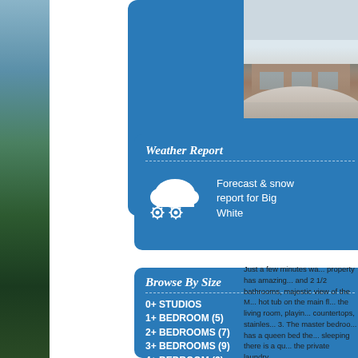[Figure (photo): Left edge mountain/forest photo strip showing snow-capped trees and sky]
[Figure (photo): Top blue banner card (partially visible)]
[Figure (photo): Top right photo of snow-covered chalet/cabin exterior]
Weather Report
Forecast & snow report for Big White
Browse By Size
0+ STUDIOS
1+ BEDROOM (5)
2+ BEDROOMS (7)
3+ BEDROOMS (9)
4+ BEDROOM (3)
Just a few minutes wa... property has amazing... and 2 1/2 bathrooms, majestic view of the M... hot tub on the main fl... the living room, playin... countertops, stainles... 3. The master bedroo... has a queen bed the... sleeping there is a qu... the private laundry...